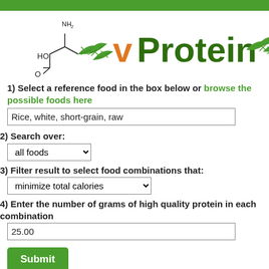[Figure (logo): vProtein logo with amino acid chemical structure (HO, NH2, COOH groups) and green leaf decorations, with 'v' in orange and 'Protein' in dark green]
1) Select a reference food in the box below or browse the possible foods here
Rice, white, short-grain, raw
2) Search over:
all foods
3) Filter result to select food combinations that:
minimize total calories
4) Enter the number of grams of high quality protein in each combination
25.00
Submit
Food pair search results for Rice, white, shor…
Showing the top 100 food results that minimize total calories